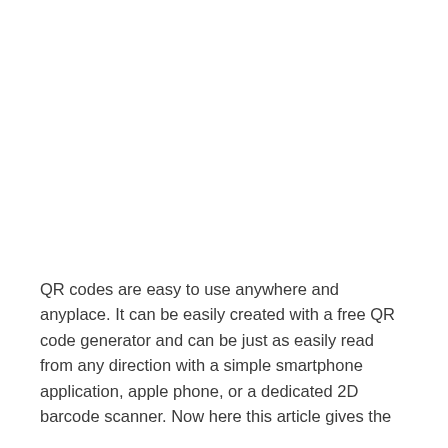QR codes are easy to use anywhere and anyplace. It can be easily created with a free QR code generator and can be just as easily read from any direction with a simple smartphone application, apple phone, or a dedicated 2D barcode scanner. Now here this article gives the